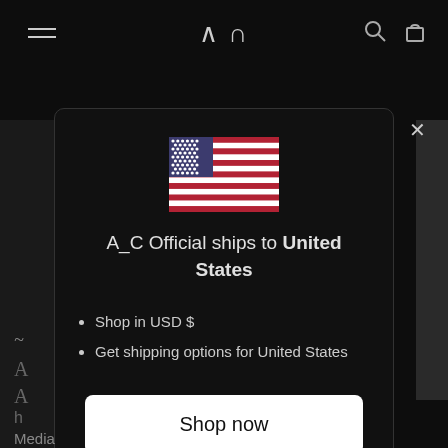A C  [navigation header with hamburger menu, logo, and icons]
[Figure (screenshot): Modal dialog with US flag, shipping info, and Shop now button]
A_C Official ships to United States
Shop in USD $
Get shipping options for United States
Shop now
Change shipping country